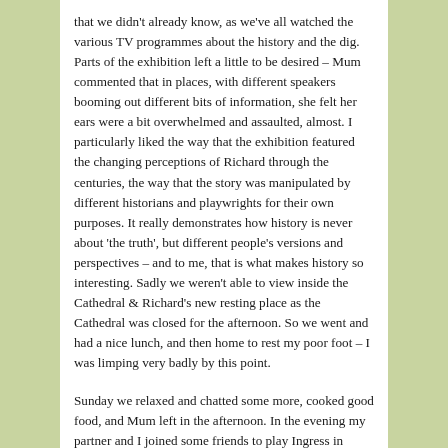that we didn't already know, as we've all watched the various TV programmes about the history and the dig. Parts of the exhibition left a little to be desired – Mum commented that in places, with different speakers booming out different bits of information, she felt her ears were a bit overwhelmed and assaulted, almost. I particularly liked the way that the exhibition featured the changing perceptions of Richard through the centuries, the way that the story was manipulated by different historians and playwrights for their own purposes. It really demonstrates how history is never about 'the truth', but different people's versions and perspectives – and to me, that is what makes history so interesting. Sadly we weren't able to view inside the Cathedral & Richard's new resting place as the Cathedral was closed for the afternoon. So we went and had a nice lunch, and then home to rest my poor foot – I was limping very badly by this point.
Sunday we relaxed and chatted some more, cooked good food, and Mum left in the afternoon. In the evening my partner and I joined some friends to play Ingress in